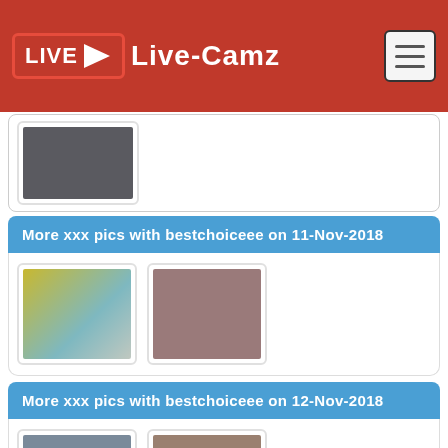Live-Camz
[Figure (photo): Partial thumbnail of a webcam image at top]
More xxx pics with bestchoiceee on 11-Nov-2018
[Figure (photo): Two webcam thumbnail images for 11-Nov-2018]
More xxx pics with bestchoiceee on 12-Nov-2018
[Figure (photo): Two webcam thumbnail images for 12-Nov-2018]